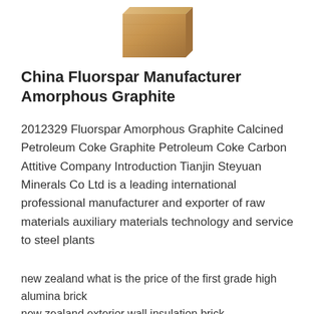[Figure (photo): A golden-brown rectangular block or brick, possibly an amorphous graphite or mineral product, photographed against a white background.]
China Fluorspar Manufacturer Amorphous Graphite
2012329 Fluorspar Amorphous Graphite Calcined Petroleum Coke Graphite Petroleum Coke Carbon Attitive Company Introduction Tianjin Steyuan Minerals Co Ltd is a leading international professional manufacturer and exporter of raw materials auxiliary materials technology and service to steel plants
new zealand what is the price of the first grade high alumina brick
new zealand exterior wall insulation brick